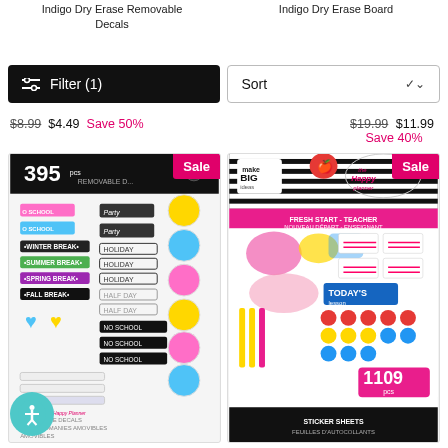Indigo Dry Erase Removable Decals
Indigo Dry Erase Board
Filter (1)
Sort
$8.99 $4.49 Save 50%
$19.99 $11.99 Save 40%
[Figure (photo): 395 piece removable sticker sheet product with Sale badge]
[Figure (photo): 1109 piece sticker sheets teacher product with Sale badge]